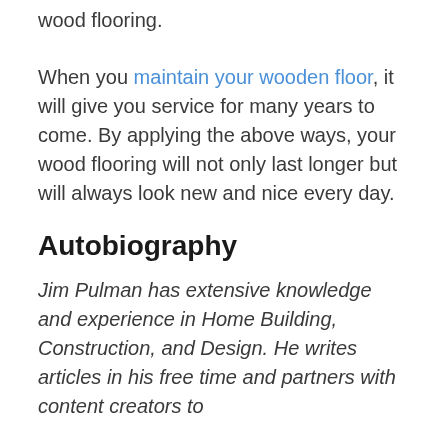wood flooring.
When you maintain your wooden floor, it will give you service for many years to come. By applying the above ways, your wood flooring will not only last longer but will always look new and nice every day.
Autobiography
Jim Pulman has extensive knowledge and experience in Home Building, Construction, and Design. He writes articles in his free time and partners with content creators to